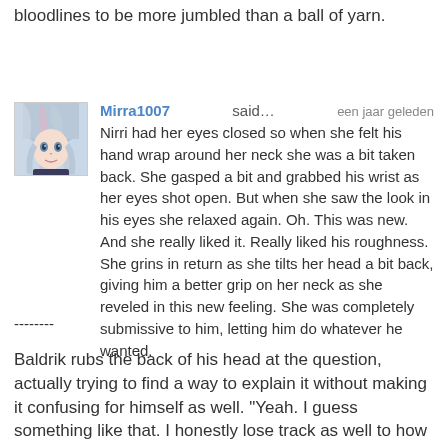bloodlines to be more jumbled than a ball of yarn.
Mirra1007 said… een jaar geleden
Nirri had her eyes closed so when she felt his hand wrap around her neck she was a bit taken back. She gasped a bit and grabbed his wrist as her eyes shot open. But when she saw the look in his eyes she relaxed again. Oh. This was new. And she really liked it. Really liked his roughness. She grins in return as she tilts her head a bit back, giving him a better grip on her neck as she reveled in this new feeling. She was completely submissive to him, letting him do whatever he wanted.
--------
Baldrik rubs the back of his head at the question, actually trying to find a way to explain it without making it confusing for himself as well. "Yeah. I guess something like that. I honestly lose track as well to how our bloodlines run. All I do know is that we indeed are family one way or